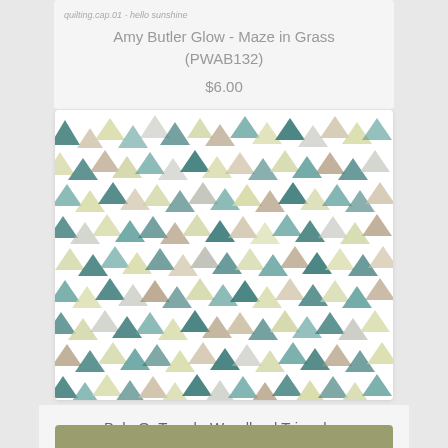quilting.cap.01 - hello sunshine
Amy Butler Glow - Maze in Grass (PWAB132)
$6.00
[Figure (photo): Fabric pattern featuring scattered colorful triangles in teal, yellow, taupe, grey, and white on white background - BabyOnTrend Woodland Triangle DV3343]
BabyOnTrend - Woodland Triangle - DV3343
$7.00
[Figure (photo): Bottom portion of a product card showing an olive/sage green fabric swatch]